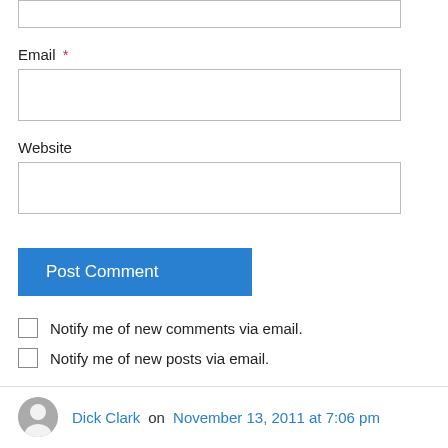Email *
Website
Post Comment
Notify me of new comments via email.
Notify me of new posts via email.
Dick Clark on November 13, 2011 at 7:06 pm